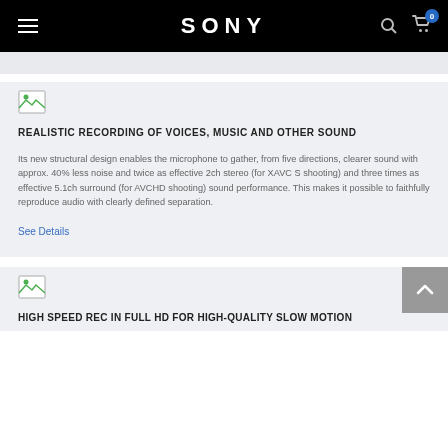SONY
[Figure (screenshot): Broken image placeholder icon]
REALISTIC RECORDING OF VOICES, MUSIC AND OTHER SOUND
Its new structural design enables the microphone to gather, from five directions, clearer sound with approx. 40% less noise and twice as effective 2ch stereo (for XAVC S shooting) and three times as effective 5.1ch surround (for AVCHD shooting) sound performance. This makes it possible to faithfully reproduce audio with clearly defined separation.
See Details
[Figure (screenshot): Broken image placeholder icon]
HIGH SPEED REC IN FULL HD FOR HIGH-QUALITY SLOW MOTION